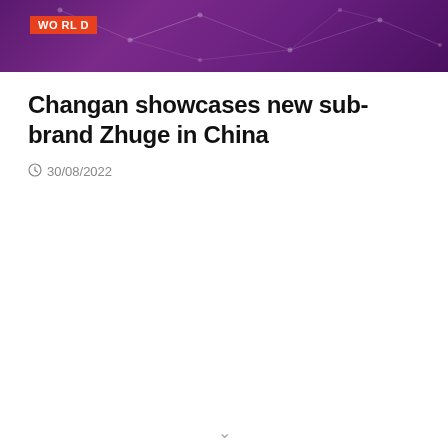WORLD
Changan showcases new sub-brand Zhuge in China
30/08/2022